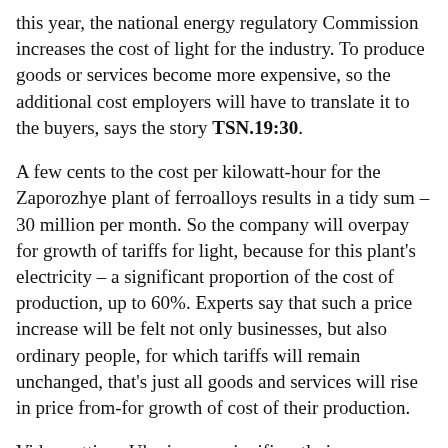this year, the national energy regulatory Commission increases the cost of light for the industry. To produce goods or services become more expensive, so the additional cost employers will have to translate it to the buyers, says the story TSN.19:30.
A few cents to the cost per kilowatt-hour for the Zaporozhye plant of ferroalloys results in a tidy sum – 30 million per month. So the company will overpay for growth of tariffs for light, because for this plant's electricity – a significant proportion of the cost of production, up to 60%. Experts say that such a price increase will be felt not only businesses, but also ordinary people, for which tariffs will remain unchanged, that's just all goods and services will rise in price from-for growth of cost of their production.
Video settings Ukraine can significantly increase prices because of the new light value for enterprises